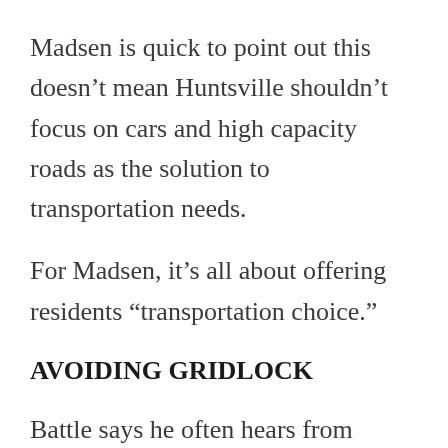Madsen is quick to point out this doesn't mean Huntsville shouldn't focus on cars and high capacity roads as the solution to transportation needs.
For Madsen, it's all about offering residents “transportation choice.”
AVOIDING GRIDLOCK
Battle says he often hears from concerned residents who are fearful